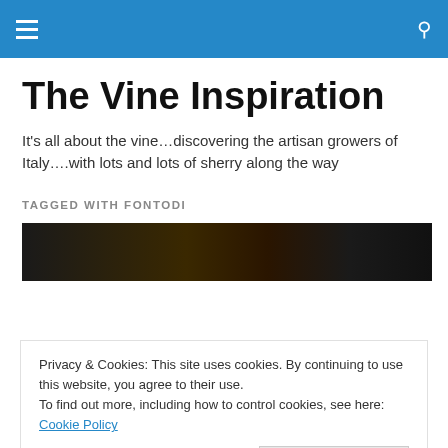The Vine Inspiration — navigation header with hamburger menu and search icon
The Vine Inspiration
It's all about the vine…discovering the artisan growers of Italy….with lots and lots of sherry along the way
TAGGED WITH FONTODI
[Figure (photo): Dark photo strip showing blurred dark background]
Privacy & Cookies: This site uses cookies. By continuing to use this website, you agree to their use.
To find out more, including how to control cookies, see here: Cookie Policy
[Figure (photo): Dark photo strip at bottom showing dark background with green tint]